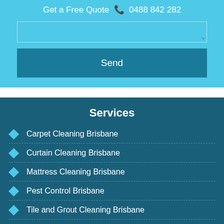Get a Free Quote ☎ 0488 842 282
[Figure (screenshot): Text input area (textarea) with resize icon in bottom-right corner]
[Figure (screenshot): Send button - dark teal/blue color]
Services
Carpet Cleaning Brisbane
Curtain Cleaning Brisbane
Mattress Cleaning Brisbane
Pest Control Brisbane
Tile and Grout Cleaning Brisbane
Upholstery Cleaning Brisbane